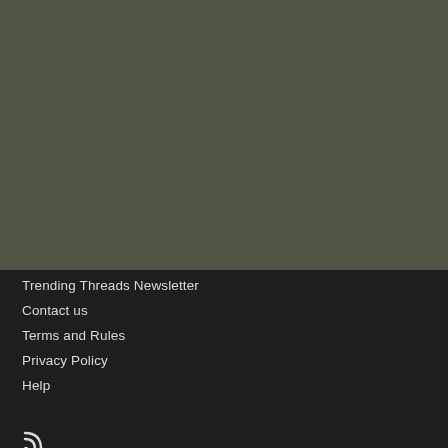[Figure (other): Dark olive/khaki green background section occupying upper portion of page]
Trending Threads Newsletter
Contact us
Terms and Rules
Privacy Policy
Help
[Figure (illustration): RSS feed icon]